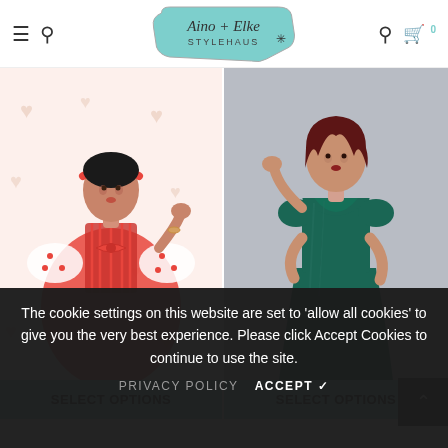Aino + Elke STYLEHAUS — navigation header with hamburger menu, search, logo, user icon, cart (0)
[Figure (photo): Woman in red striped dress with red bow and heart-print sleeves posing in front of heart-pattern wallpaper]
[Figure (photo): Woman in emerald green velvet gown posing against grey background]
SELECT OPTIONS
SELECT OPTIONS
The cookie settings on this website are set to 'allow all cookies' to give you the very best experience. Please click Accept Cookies to continue to use the site.
PRIVACY POLICY   ACCEPT ✔